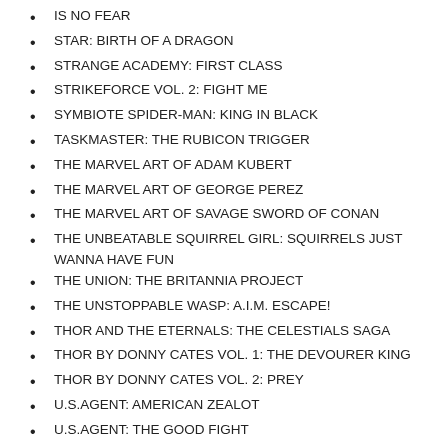IS NO FEAR
STAR: BIRTH OF A DRAGON
STRANGE ACADEMY: FIRST CLASS
STRIKEFORCE VOL. 2: FIGHT ME
SYMBIOTE SPIDER-MAN: KING IN BLACK
TASKMASTER: THE RUBICON TRIGGER
THE MARVEL ART OF ADAM KUBERT
THE MARVEL ART OF GEORGE PEREZ
THE MARVEL ART OF SAVAGE SWORD OF CONAN
THE UNBEATABLE SQUIRREL GIRL: SQUIRRELS JUST WANNA HAVE FUN
THE UNION: THE BRITANNIA PROJECT
THE UNSTOPPABLE WASP: A.I.M. ESCAPE!
THOR AND THE ETERNALS: THE CELESTIALS SAGA
THOR BY DONNY CATES VOL. 1: THE DEVOURER KING
THOR BY DONNY CATES VOL. 2: PREY
U.S.AGENT: AMERICAN ZEALOT
U.S.AGENT: THE GOOD FIGHT